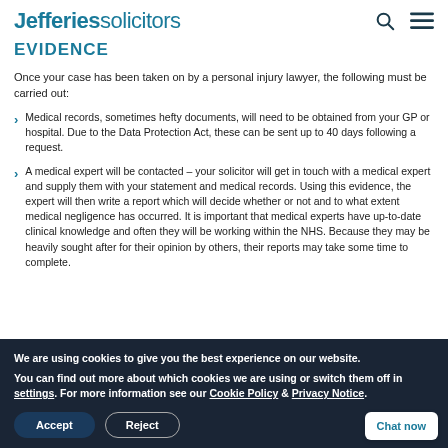Jefferies solicitors
EVIDENCE
Once your case has been taken on by a personal injury lawyer, the following must be carried out:
Medical records, sometimes hefty documents, will need to be obtained from your GP or hospital. Due to the Data Protection Act, these can be sent up to 40 days following a request.
A medical expert will be contacted – your solicitor will get in touch with a medical expert and supply them with your statement and medical records. Using this evidence, the expert will then write a report which will decide whether or not and to what extent medical negligence has occurred. It is important that medical experts have up-to-date clinical knowledge and often they will be working within the NHS. Because they may be heavily sought after for their opinion by others, their reports may take some time to complete.
We are using cookies to give you the best experience on our website.
You can find out more about which cookies we are using or switch them off in settings. For more information see our Cookie Policy & Privacy Notice.